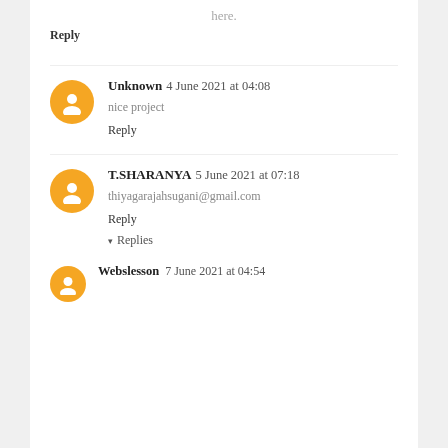here.
Reply
Unknown  4 June 2021 at 04:08
nice project
Reply
T.SHARANYA  5 June 2021 at 07:18
thiyagarajahsugani@gmail.com
Reply
▾ Replies
Webslesson  7 June 2021 at 04:54